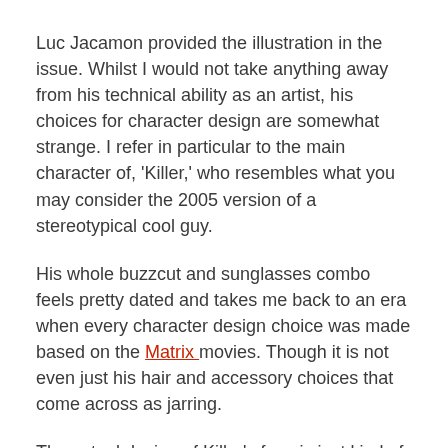Luc Jacamon provided the illustration in the issue. Whilst I would not take anything away from his technical ability as an artist, his choices for character design are somewhat strange. I refer in particular to the main character of, 'Killer,' who resembles what you may consider the 2005 version of a stereotypical cool guy.
His whole buzzcut and sunglasses combo feels pretty dated and takes me back to an era when every character design choice was made based on the Matrix movies. Though it is not even just his hair and accessory choices that come across as jarring.
The actual design of Killer's face is just kind of odd. He has very owl-like features, which cause him to feel more akin to a secretarial side character, rather than the main assassin character who we follow through the plot. The way that his face is drawn actual sort of reminds me of, (dare I say it?) 'Kick-